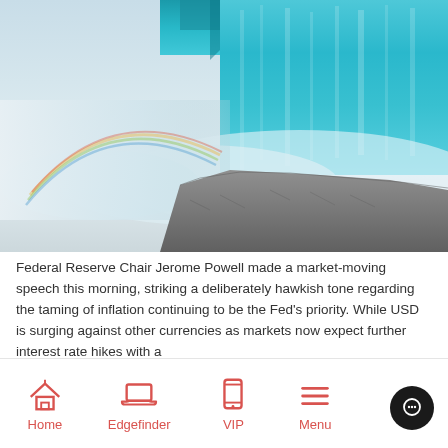[Figure (photo): Photograph of Niagara Falls with teal rushing water, mist, a rainbow visible on the left, and rocky foreground at bottom right]
Federal Reserve Chair Jerome Powell made a market-moving speech this morning, striking a deliberately hawkish tone regarding the taming of inflation continuing to be the Fed's priority. While USD is surging against other currencies as markets now expect further interest rate hikes with a
Home   Edgefinder   VIP   Menu